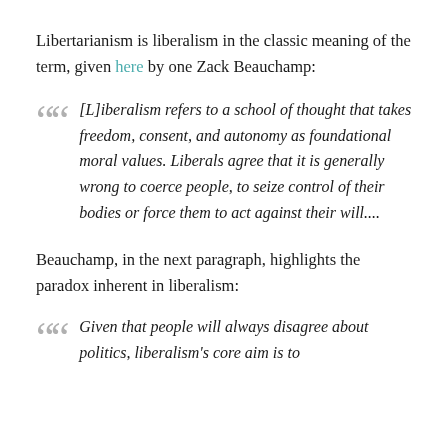Libertarianism is liberalism in the classic meaning of the term, given here by one Zack Beauchamp:
[L]iberalism refers to a school of thought that takes freedom, consent, and autonomy as foundational moral values. Liberals agree that it is generally wrong to coerce people, to seize control of their bodies or force them to act against their will....
Beauchamp, in the next paragraph, highlights the paradox inherent in liberalism:
Given that people will always disagree about politics, liberalism's core aim is to